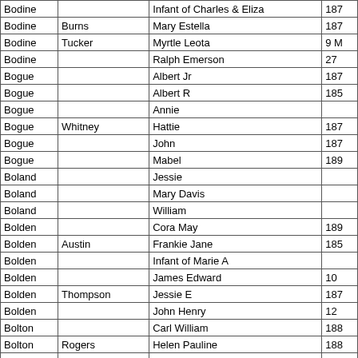| Last Name | Mother's Maiden | Given Name | Year |
| --- | --- | --- | --- |
| Bodine |  | Infant of Charles & Eliza | 187 |
| Bodine | Burns | Mary Estella | 187 |
| Bodine | Tucker | Myrtle Leota | 9 M |
| Bodine |  | Ralph Emerson | 27 |
| Bogue |  | Albert Jr | 187 |
| Bogue |  | Albert R | 185 |
| Bogue |  | Annie |  |
| Bogue | Whitney | Hattie | 187 |
| Bogue |  | John | 187 |
| Bogue |  | Mabel | 189 |
| Boland |  | Jessie |  |
| Boland |  | Mary Davis |  |
| Boland |  | William |  |
| Bolden |  | Cora May | 189 |
| Bolden | Austin | Frankie Jane | 185 |
| Bolden |  | Infant of Marie A |  |
| Bolden |  | James Edward | 10 |
| Bolden | Thompson | Jessie E | 187 |
| Bolden |  | John Henry | 12 |
| Bolton |  | Carl William | 188 |
| Bolton | Rogers | Helen Pauline | 188 |
| Bolton |  | Joseph P. | 185 |
| Bolton |  | Kenneth | 14 |
| Bolton | Schoonover | Letha Virginia | 20 |
| Bolton |  | Mary Davis |  |
| Bolton |  | Mary Eva | 3 J |
| Bolton |  | Mary D | 187 |